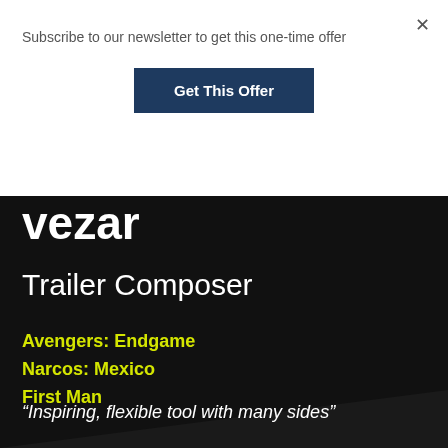Subscribe to our newsletter to get this one-time offer
Get This Offer
×
vezar
Trailer Composer
Avengers: Endgame
Narcos: Mexico
First Man
“Inspiring, flexible tool with many sides”